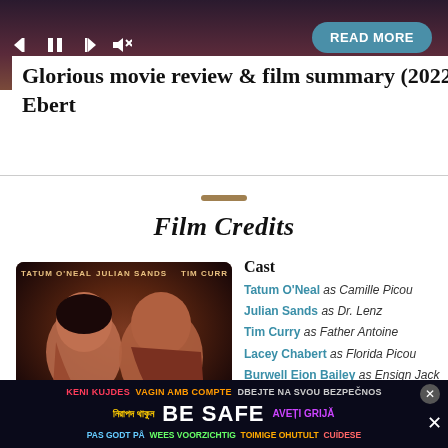[Figure (screenshot): Media player controls bar with play/pause/skip icons and a teal 'READ MORE' button, overlaid on a dark purple/red blurred background image]
Glorious movie review & film summary (2022) | Roger Ebert
Film Credits
[Figure (photo): Movie poster showing two people in close profile, with text 'TATUM O'NEAL JULIAN SANDS TIM CURR' visible at the top]
Cast
Tatum O'Neal as Camille Picou
Julian Sands as Dr. Lenz
Tim Curry as Father Antoine
Lacey Chabert as Florida Picou
Burwell Eion Bailey as Ensign Jack
[Figure (infographic): Dark advertisement banner with multilingual 'BE SAFE' text in various colors and languages]